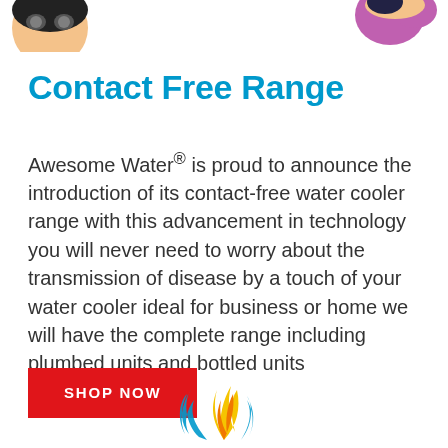[Figure (illustration): Top-left partial cartoon character illustration (person with helmet/hat)]
[Figure (illustration): Top-right partial cartoon character illustration (person in purple dress)]
Contact Free Range
Awesome Water® is proud to announce the introduction of its contact-free water cooler range with this advancement in technology you will never need to worry about the transmission of disease by a touch of your water cooler ideal for business or home we will have the complete range including plumbed units and bottled units
[Figure (logo): Awesome Water flame logo in yellow, orange and blue at bottom center]